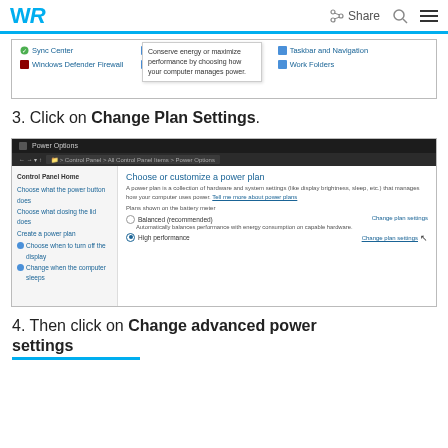WR | Share
[Figure (screenshot): Windows Control Panel showing Sync Center, Windows Defender Firewall, System items, Taskbar and Navigation, Work Folders, with a tooltip: Conserve energy or maximize performance by choosing how your computer manages power.]
3. Click on Change Plan Settings.
[Figure (screenshot): Power Options window showing Control Panel > All Control Panel Items > Power Options. Left sidebar: Control Panel Home, Choose what the power button does, Choose what closing the lid does, Create a power plan, Choose when to turn off the display, Change when the computer sleeps. Main area: Choose or customize a power plan. Plans shown on the battery meter: Balanced (recommended) - Change plan settings, High performance - Change plan settings (with cursor hover).]
4. Then click on Change advanced power settings.